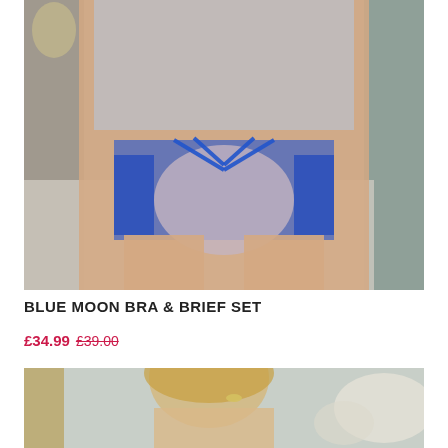[Figure (photo): Model wearing Blue Moon Bra & Brief Set — blue floral lace lingerie with strappy detail on briefs, photographed in a luxurious room setting]
BLUE MOON BRA & BRIEF SET
£34.99 £39.00
[Figure (photo): Second product photo showing model with blonde hair, floral background, partial crop showing head and shoulders]